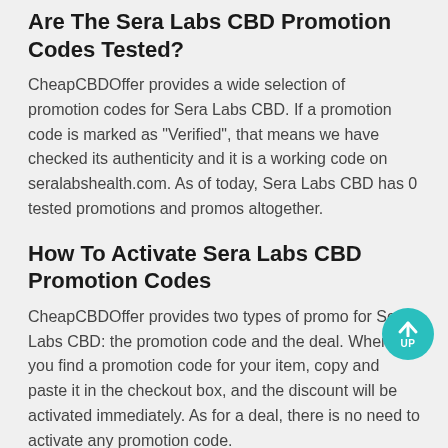Are The Sera Labs CBD Promotion Codes Tested?
CheapCBDOffer provides a wide selection of promotion codes for Sera Labs CBD. If a promotion code is marked as "Verified", that means we have checked its authenticity and it is a working code on seralabshealth.com. As of today, Sera Labs CBD has 0 tested promotions and promos altogether.
How To Activate Sera Labs CBD Promotion Codes
CheapCBDOffer provides two types of promo for Sera Labs CBD: the promotion code and the deal. When you find a promotion code for your item, copy and paste it in the checkout box, and the discount will be activated immediately. As for a deal, there is no need to activate any promotion code.
Why Does The Sera Labs CBD Promotion Code Never Work?
The most common explanations that the Sera Labs CBD promotion code doesn't work generally include: there are